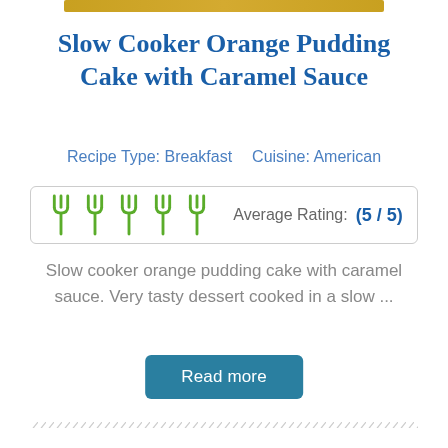[Figure (other): Golden/yellow-gold decorative top bar element]
Slow Cooker Orange Pudding Cake with Caramel Sauce
Recipe Type: Breakfast    Cuisine: American
[Figure (other): Five green fork icons representing a 5/5 star rating, with text 'Average Rating: (5 / 5)']
Slow cooker orange pudding cake with caramel sauce. Very tasty dessert cooked in a slow ...
Read more
[Figure (other): Decorative diagonal-line divider]